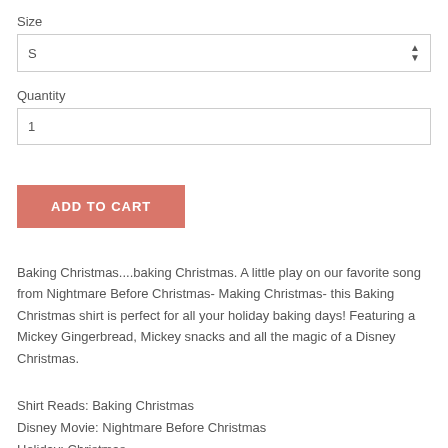Size
S
Quantity
1
ADD TO CART
Baking Christmas....baking Christmas. A little play on our favorite song from Nightmare Before Christmas- Making Christmas- this Baking Christmas shirt is perfect for all your holiday baking days! Featuring a Mickey Gingerbread, Mickey snacks and all the magic of a Disney Christmas.
Shirt Reads: Baking Christmas
Disney Movie: Nightmare Before Christmas
Holiday: Christmas